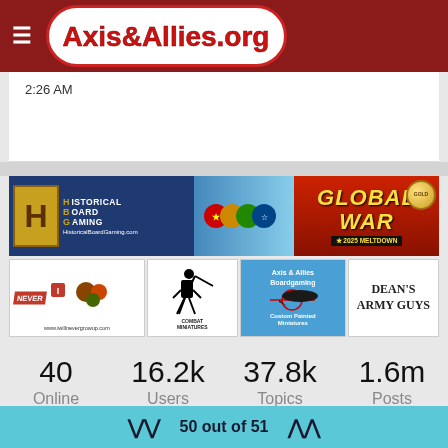Axis&Allies.org
2:26 AM
[Figure (photo): Historical Board Gaming banner ad for Global War 2025 Meltdown game with national flags and gold seal]
[Figure (photo): Four sponsor banner ads: I Will Never Grow Up gaming, Combat Miniatures, Axis & Allies Boardgaming Custom Painted Miniatures, Dean's Army Guys]
40 Online   16.2k Users   37.8k Topics   1.6m Posts
50 out of 51